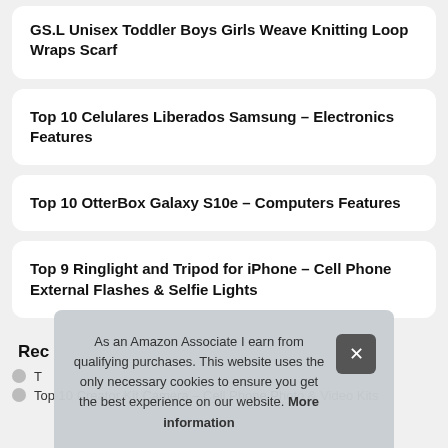GS.L Unisex Toddler Boys Girls Weave Knitting Loop Wraps Scarf
Top 10 Celulares Liberados Samsung – Electronics Features
Top 10 OtterBox Galaxy S10e – Computers Features
Top 9 Ringlight and Tripod for iPhone – Cell Phone External Flashes & Selfie Lights
Rec
As an Amazon Associate I earn from qualifying purchases. This website uses the only necessary cookies to ensure you get the best experience on our website. More information
Top 10 Creator Kit Camera – Cell Phone Photo & Video Kits